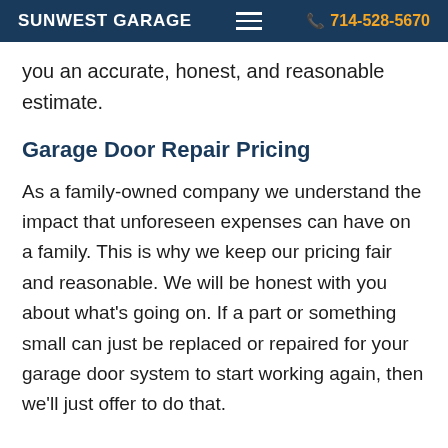SUNWEST GARAGE | 714-528-5670
you an accurate, honest, and reasonable estimate.
Garage Door Repair Pricing
As a family-owned company we understand the impact that unforeseen expenses can have on a family. This is why we keep our pricing fair and reasonable. We will be honest with you about what's going on. If a part or something small can just be replaced or repaired for your garage door system to start working again, then we'll just offer to do that.